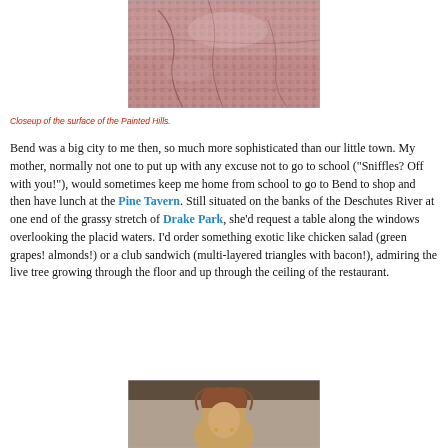[Figure (photo): Closeup photograph of the surface of the Painted Hills, showing reddish-pink cracked clay texture]
Closeup of the surface of the Painted Hills.
Bend was a big city to me then, so much more sophisticated than our little town. My mother, normally not one to put up with any excuse not to go to school ("Sniffles? Off with you!"), would sometimes keep me home from school to go to Bend to shop and then have lunch at the Pine Tavern. Still situated on the banks of the Deschutes River at one end of the grassy stretch of Drake Park, she'd request a table along the windows overlooking the placid waters. I'd order something exotic like chicken salad (green grapes! almonds!) or a club sandwich (multi-layered triangles with bacon!), admiring the live tree growing through the floor and up through the ceiling of the restaurant.
[Figure (photo): Partial photo at bottom of page showing a person, partially cropped]